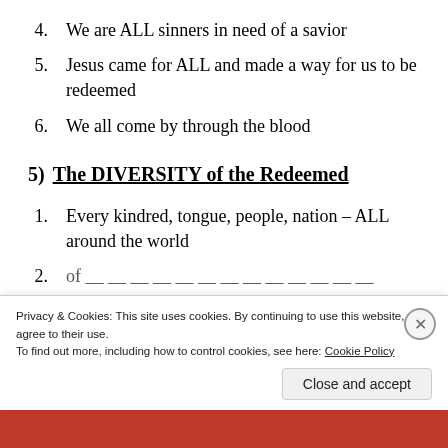4. We are ALL sinners in need of a savior
5. Jesus came for ALL and made a way for us to be redeemed
6. We all come by through the blood
5) The DIVERSITY of the Redeemed
1. Every kindred, tongue, people, nation – ALL around the world
Privacy & Cookies: This site uses cookies. By continuing to use this website, you agree to their use.
To find out more, including how to control cookies, see here: Cookie Policy
Close and accept